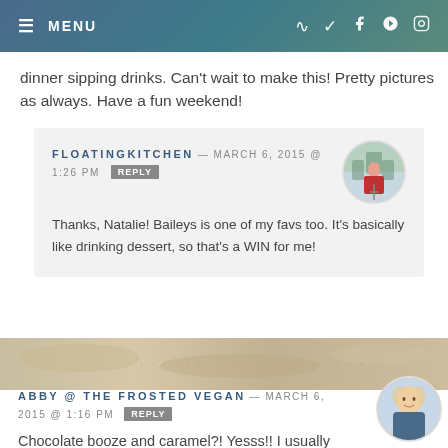≡ MENU
dinner sipping drinks. Can't wait to make this! Pretty pictures as always. Have a fun weekend!
FLOATINGKITCHEN — MARCH 6, 2015 @ 1:26 PM REPLY
Thanks, Natalie! Baileys is one of my favs too. It's basically like drinking dessert, so that's a WIN for me!
ABBY @ THE FROSTED VEGAN — MARCH 6, 2015 @ 1:16 PM REPLY
Chocolate booze and caramel?! Yesss!! I usually